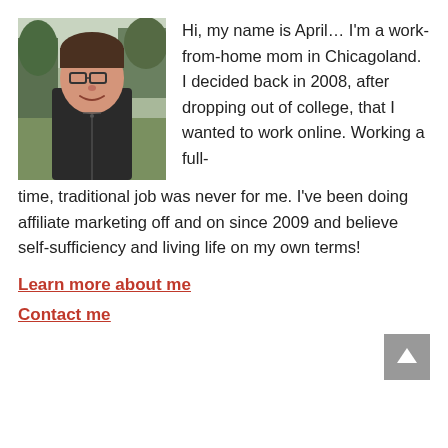[Figure (photo): Selfie photo of a young woman with glasses and dark hair, wearing a black zip-up jacket, standing outdoors with trees in the background.]
Hi, my name is April… I'm a work-from-home mom in Chicagoland. I decided back in 2008, after dropping out of college, that I wanted to work online. Working a full-time, traditional job was never for me. I've been doing affiliate marketing off and on since 2009 and believe self-sufficiency and living life on my own terms!
Learn more about me
Contact me